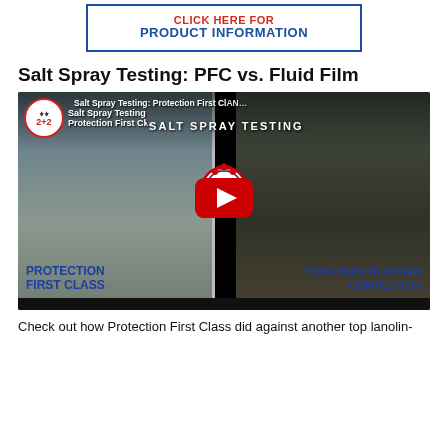[Figure (screenshot): Advertisement banner with blue border showing product bottles and text 'CLICK HERE FOR PRODUCT INFORMATION' in red and blue bold text]
Salt Spray Testing: PFC vs. Fluid Film
[Figure (screenshot): YouTube video thumbnail showing salt spray test comparison between Protection First Class (left, clean) and Top Lanolin-Based Competitor (right, rusted/corroded). Channel badge '2+2' visible top left. Bernegle Oil Company logo in center. Large red YouTube play button. Text overlay: 'Salt Spray Testing Protection First Class', 'SALT SPRAY TESTING', 'PROTECTION FIRST CLASS', 'TOP LANOLIN-BASED COMPETITOR']
Check out how Protection First Class did against another top lanolin-based competitor in the salt spray foam test.